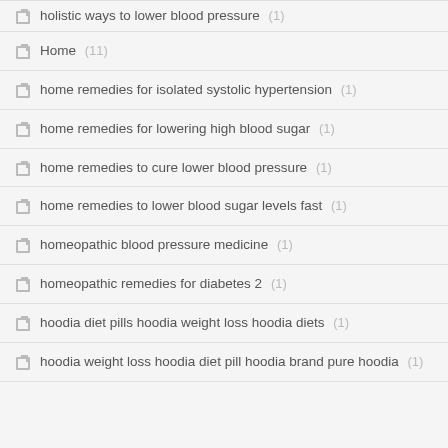holistic ways to lower blood pressure (1)
Home (11)
home remedies for isolated systolic hypertension (1)
home remedies for lowering high blood sugar (1)
home remedies to cure lower blood pressure (1)
home remedies to lower blood sugar levels fast (1)
homeopathic blood pressure medicine (1)
homeopathic remedies for diabetes 2 (1)
hoodia diet pills hoodia weight loss hoodia diets (1)
hoodia weight loss hoodia diet pill hoodia brand pure hoodia (1)